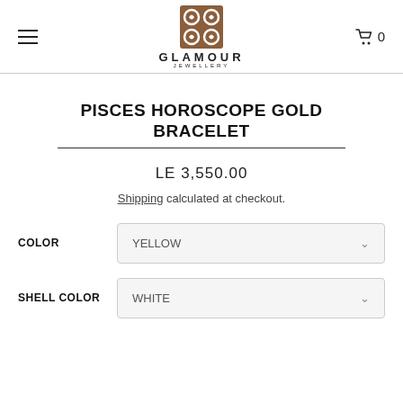GLAMOUR JEWELLERY
PISCES HOROSCOPE GOLD BRACELET
LE 3,550.00
Shipping calculated at checkout.
COLOR: YELLOW
SHELL COLOR: WHITE